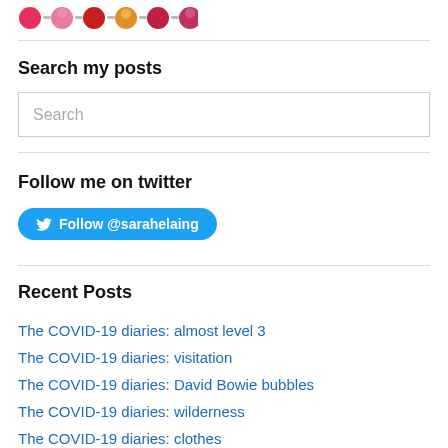[Figure (logo): Colorful circle/bubble logo with dashes between circles in pink, red, orange and dark red colors]
Search my posts
Search (input box placeholder)
Follow me on twitter
Follow @sarahelaing (Twitter button)
Recent Posts
The COVID-19 diaries: almost level 3
The COVID-19 diaries: visitation
The COVID-19 diaries: David Bowie bubbles
The COVID-19 diaries: wilderness
The COVID-19 diaries: clothes